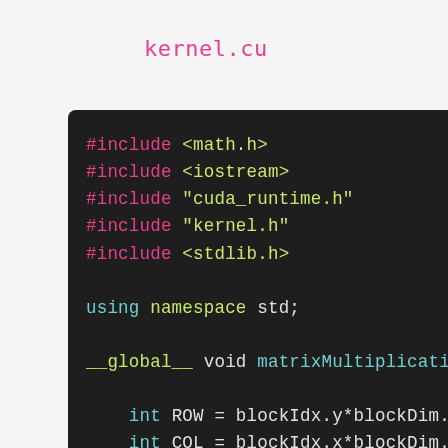kernel.cu
#include <math.h>
#include <iostream>
#include "cuda_runtime.h"
#include "kernel.h"
#include <stdlib.h>

using namespace std;

__global__ void matrixMultiplicationKe

    int ROW = blockIdx.y*blockDim.y+th
    int COL = blockIdx.x*blockDim.x+th

    float tmpSum = 0;

    if (ROW < N && COL < N) {